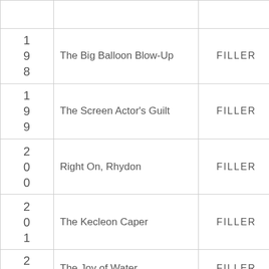| # | Title | Type | Date |
| --- | --- | --- | --- |
| 198 | The Big Balloon Blow-Up | FILLER | 2001-06-14 |
| 199 | The Screen Actor's Guilt | FILLER | 2001-06-21 |
| 200 | Right On, Rhydon | FILLER | 2001-06-28 |
| 201 | The Kecleon Caper | FILLER | 2001-07-05 |
| 202 | The Joy of Water | FILLER | 2001-... |